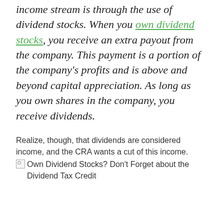income stream is through the use of dividend stocks. When you own dividend stocks, you receive an extra payout from the company. This payment is a portion of the company's profits and is above and beyond capital appreciation. As long as you own shares in the company, you receive dividends.
Realize, though, that dividends are considered income, and the CRA wants a cut of this income.
[Figure (other): Broken image placeholder with alt text: Own Dividend Stocks? Don't Forget about the Dividend Tax Credit]